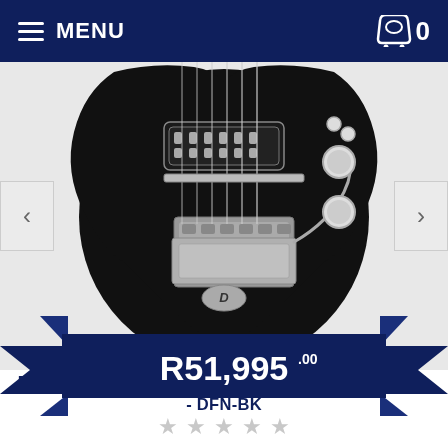MENU  🛒 0
[Figure (photo): Close-up photo of a Duesenberg The Falken Radiator Tremola electric guitar body in black finish with chrome hardware, tremolo arm, pickups, and bridge visible against a light grey background. Navigation arrows (< >) are shown on left and right sides.]
DUESENBERG THE FALKEN RADIATOR TREMOLA - DFN-BK
R51,995.00
[Figure (infographic): Dark navy blue ribbon/banner graphic with decorative folded ends on both sides, containing the price R51,995.00]
★★★★★